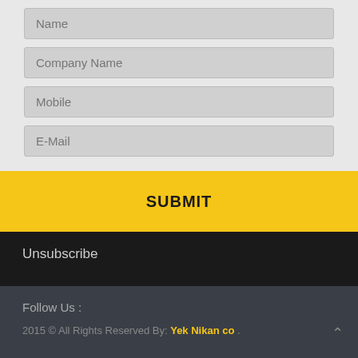[Figure (screenshot): Web form with four input fields: Name, Company Name, Mobile, E-Mail on a light gray background]
SUBMIT
Unsubscribe
Follow Us :
2015 © All Rights Reserved By: Yek Nikan co .